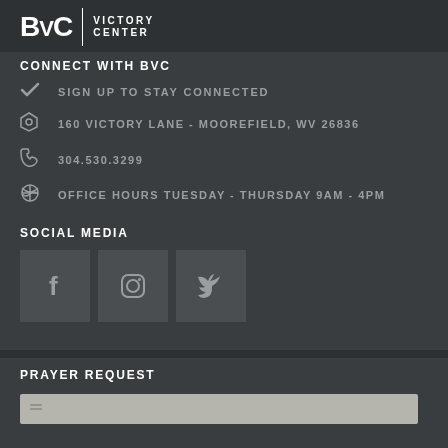BVC | VICTORY CENTER
CONNECT WITH BVC
SIGN UP TO STAY CONNECTED
160 VICTORY LANE - MOOREFIELD, WV 26836
304.530.3299
OFFICE HOURS TUESDAY - THURSDAY 9AM - 4PM
SOCIAL MEDIA
[Figure (illustration): Three social media icon boxes: Facebook (f), Instagram (camera), Twitter (bird)]
PRAYER REQUEST
Name input field (form element)